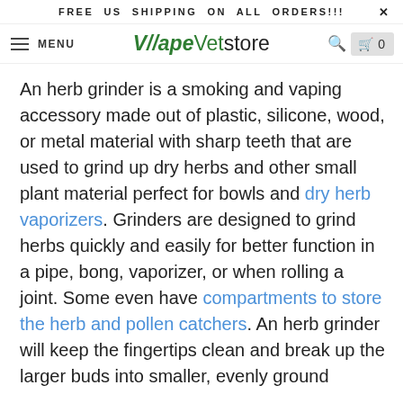FREE US SHIPPING ON ALL ORDERS!!!   X
MENU  VapeVetstore  [search] [cart 0]
An herb grinder is a smoking and vaping accessory made out of plastic, silicone, wood, or metal material with sharp teeth that are used to grind up dry herbs and other small plant material perfect for bowls and dry herb vaporizers. Grinders are designed to grind herbs quickly and easily for better function in a pipe, bong, vaporizer, or when rolling a joint. Some even have compartments to store the herb and pollen catchers. An herb grinder will keep the fingertips clean and break up the larger buds into smaller, evenly ground pieces. Although the styles and sizes are endless, they all have one purpose. That purpose is to shred the material inside to an even consistency. Using a grinder is beneficial because it makes all your